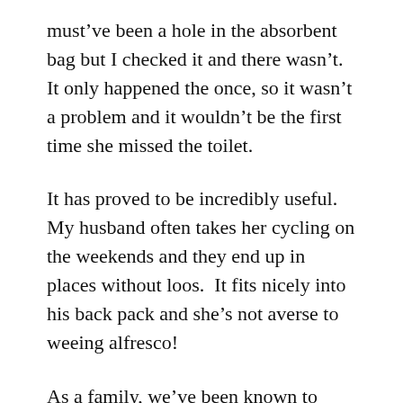must've been a hole in the absorbent bag but I checked it and there wasn't.  It only happened the once, so it wasn't a problem and it wouldn't be the first time she missed the toilet.
It has proved to be incredibly useful.  My husband often takes her cycling on the weekends and they end up in places without loos.  It fits nicely into his back pack and she's not averse to weeing alfresco!
As a family, we've been known to frequent the odd pub or two! I know this comes as a great surprise to you ;-) In the past when it was hubby's turn to take her, he often found the men's loos were disgusting, to say the least, so